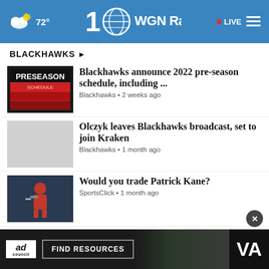72° WGN Radio • LIVE
BLACKHAWKS ›
[Figure (screenshot): Thumbnail image of Blackhawks 2022 preseason schedule flyer]
Blackhawks announce 2022 pre-season schedule, including ...
Blackhawks • 2 weeks ago
[Figure (photo): Gray placeholder thumbnail for Olczyk article]
Olczyk leaves Blackhawks broadcast, set to join Kraken
Blackhawks • 1 month ago
[Figure (photo): Photo of Patrick Kane in Blackhawks uniform on ice]
Would you trade Patrick Kane?
SportsClick • 1 month ago
[Figure (photo): Gray placeholder thumbnail for Scotty Bowman article]
Scotty Bowman moves on from job as Blackhawks adviser
Blackhawks • 1 month ago
[Figure (photo): Partial gray thumbnail for Duncan Keith article]
Duncan Keith announces
[Figure (screenshot): Ad Council advertisement banner: FIND RESOURCES, VA logo]